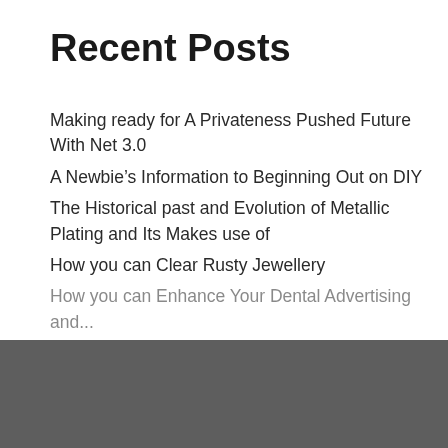Recent Posts
Making ready for A Privateness Pushed Future With Net 3.0
A Newbie's Information to Beginning Out on DIY
The Historical past and Evolution of Metallic Plating and Its Makes use of
How you can Clear Rusty Jewellery
How you can Enhance Your Dental Advertising and...
We use cookies on our website to give you the most relevant experience by remembering your preferences and repeat visits. By clicking "Accept All", you consent to the use of ALL the cookies. However, you may visit "Cookie Settings" to provide a controlled consent.